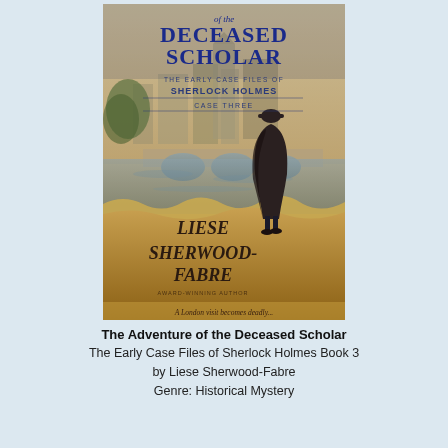[Figure (illustration): Book cover of 'The Adventure of the Deceased Scholar' - The Early Case Files of Sherlock Holmes, Case Three, by Liese Sherwood-Fabre. Shows a Victorian-era scene with a figure in a cape and deerstalker hat viewed from behind, standing near a river with buildings in the background. Tagline: 'A London visit becomes deadly...']
The Adventure of the Deceased Scholar
The Early Case Files of Sherlock Holmes Book 3
by Liese Sherwood-Fabre
Genre: Historical Mystery